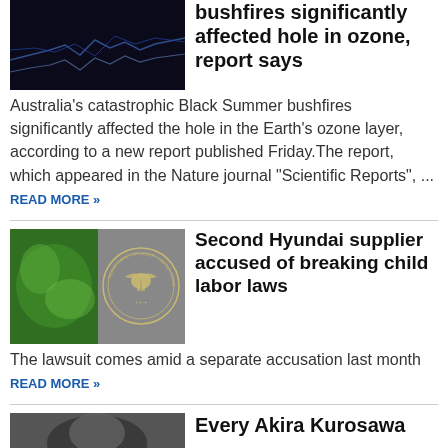[Figure (photo): Dark background with blue waveform/graph lines]
bushfires significantly affected hole in ozone, report says
Australia's catastrophic Black Summer bushfires significantly affected the hole in the Earth's ozone layer, according to a new report published Friday.The report, which appeared in the Nature journal "Scientific Reports", ... READ MORE »
[Figure (photo): Split image: green blurry plant on left, Department of Labor seal on right]
Second Hyundai supplier accused of breaking child labor laws
The lawsuit comes amid a separate accusation last month READ MORE »
[Figure (photo): Black and white portrait photo]
Every Akira Kurosawa